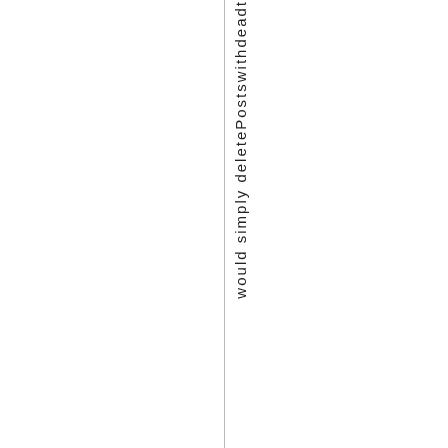would simply delete Posts with drawn